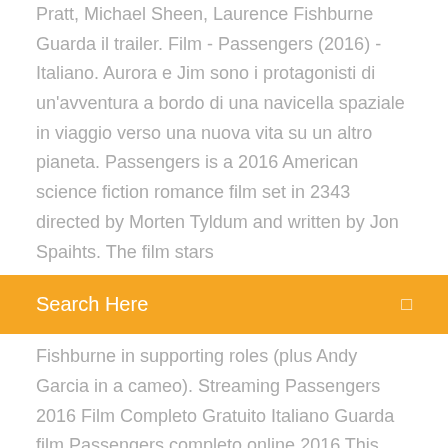Pratt, Michael Sheen, Laurence Fishburne Guarda il trailer. Film - Passengers (2016) - Italiano. Aurora e Jim sono i protagonisti di un'avventura a bordo di una navicella spaziale in viaggio verso una nuova vita su un altro pianeta. Passengers is a 2016 American science fiction romance film set in 2343 directed by Morten Tyldum and written by Jon Spaihts. The film stars
[Figure (screenshot): Orange search bar with text 'Search Here' and a small search icon on the right]
Fishburne in supporting roles (plus Andy Garcia in a cameo). Streaming Passengers 2016 Film Completo Gratuito Italiano Guarda film Passengers completo online 2016 This entry was posted in Avventura , Drammatico , Fantascienza , Sentimentale and tagged Film altadefinizione ita , film cineblog01 , film completo Passengers , film italiano , film streaming ITA , Passengers film pertutti , Passengers film senza limiti , Passengers nowvideo , ... 21/12/2016 · Directed by Morten Tyldum. With Jennifer Lawrence, Chris Pratt, Michael Sheen, Laurence Fishburne. A spacecraft traveling to a distant colony